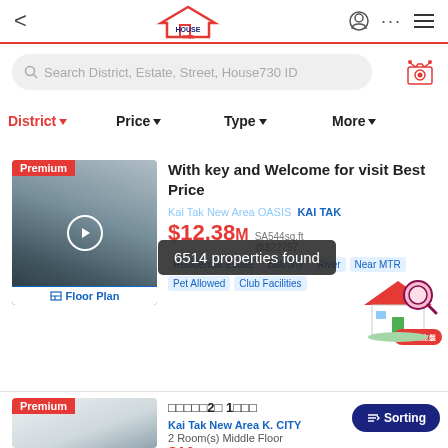House730 — navigation bar with back arrow, logo, user/menu icons
Search District, Estate, Street, House730 ID
District ▼   Price ▼   Type ▼   More ▼
[Figure (photo): Premium listing thumbnail — city high-rise buildings with green park, floor plan button below]
With key and Welcome for visit Best Price
Kai Tak New Area OASIS  KAI TAK
6514 properties found
$12.38M  SA544sq.ft  @$22757
Residential Estate  Balcony  River  Near MTR  Pet Allowed  Club Facilities
[Figure (illustration): House with magnifying glass illustration]
[Figure (photo): Premium listing 2 thumbnail — interior kitchen/living room]
□□□□□2□ 1□□□
Kai Tak New Area K. CITY
2 Room(s) Middle Floor
$10M  SA449sq.ft